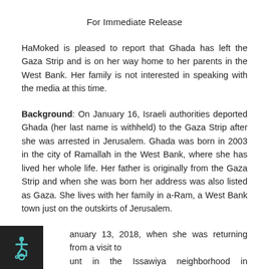For Immediate Release
HaMoked is pleased to report that Ghada has left the Gaza Strip and is on her way home to her parents in the West Bank. Her family is not interested in speaking with the media at this time.
Background: On January 16, Israeli authorities deported Ghada (her last name is withheld) to the Gaza Strip after she was arrested in Jerusalem. Ghada was born in 2003 in the city of Ramallah in the West Bank, where she has lived her whole life. Her father is originally from the Gaza Strip and when she was born her address was also listed as Gaza. She lives with her family in a-Ram, a West Bank town just on the outskirts of Jerusalem.
anuary 13, 2018, when she was returning from a visit to unt in the Issawiya neighborhood in Jerusalem, she was